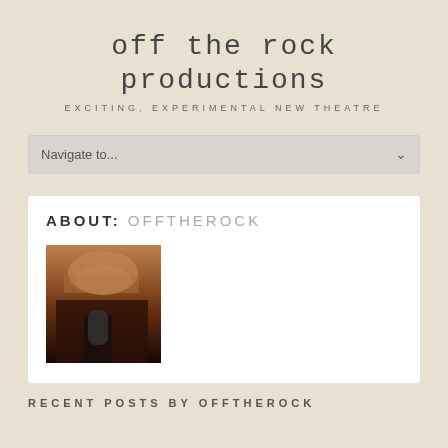off the rock productions
EXCITING, EXPERIMENTAL NEW THEATRE
Navigate to...
ABOUT: OFFTHEROCK
[Figure (photo): Close-up portrait photo of a person, darkly lit, appearing to hold something near their face]
RECENT POSTS BY OFFTHEROCK